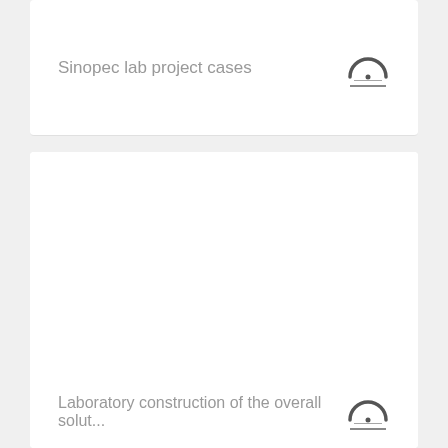Sinopec lab project cases
[Figure (other): Video/media play icon — rainbow arc with a dot and a horizontal line beneath, indicating a video thumbnail or media link]
[Figure (other): Large blank white card area (image/video content area, empty/loading)]
Laboratory construction of the overall solut...
[Figure (other): Video/media play icon — rainbow arc with a dot and a horizontal line beneath]